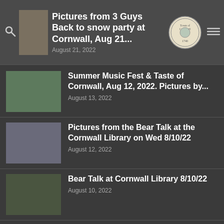Pictures from 3 Guys Back to snow party at Cornwall, Aug 21... | August 21, 2022
Summer Music Fest & Taste of Cornwall, Aug 12, 2022. Pictures by... | August 13, 2022
Pictures from the Bear Talk at the Cornwall Library on Wed 8/10/22 | August 12, 2022
Bear Talk at Cornwall Library 8/10/22 | August 10, 2022
Pictures from the opening of the Rose Algrant Show, Aug 5, 2022 by... | August 6, 2022
Pictures from the hanging of the Rose Algrant Show at the Cornwall...